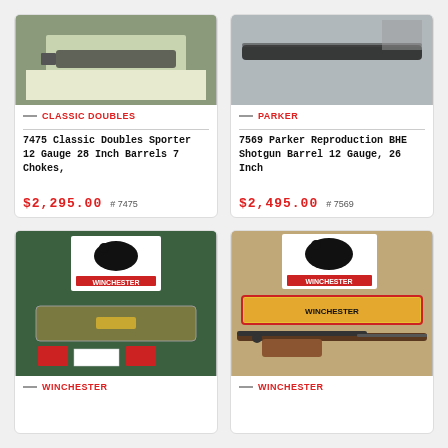[Figure (photo): Classic Doubles Sporter shotgun product photo on white/green background]
CLASSIC DOUBLES
7475 Classic Doubles Sporter 12 gauge 28 inch barrels 7 chokes,
$2,295.00  # 7475
[Figure (photo): Parker Reproduction BHE shotgun barrel product photo on grey background]
PARKER
7569 Parker Reproduction BHE shotgun barrel 12 gauge, 26 inch
$2,495.00  # 7569
[Figure (photo): Winchester product photo showing case, gun parts and Winchester branded packaging on green background]
WINCHESTER
[Figure (photo): Winchester product photo showing rifle with Winchester branded box and packaging]
WINCHESTER